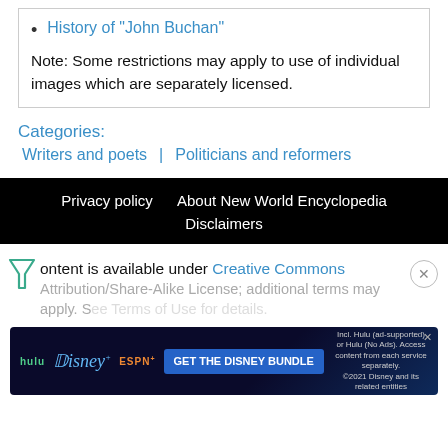History of "John Buchan"
Note: Some restrictions may apply to use of individual images which are separately licensed.
Categories:
Writers and poets
Politicians and reformers
Privacy policy   About New World Encyclopedia   Disclaimers
Content is available under Creative Commons Attribution/Share-Alike License; additional terms may apply. See Terms of Use for details.
[Figure (screenshot): Disney Bundle advertisement banner: hulu, Disney+, ESPN+ logos with 'GET THE DISNEY BUNDLE' call-to-action button. Small text: Incl. Hulu (ad-supported) or Hulu (No Ads). Access content from each service separately. ©2021 Disney and its related entities]